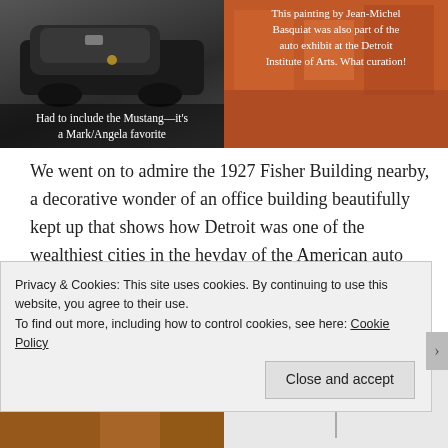[Figure (photo): Photo of a Ford Mustang car, dark background]
Had to include the Mustang—it's a Mark/Angela favorite
[Figure (photo): Painting by Jean-Michel Basquiat with warm orange/red tones]
This painting by Jean-Michel Basquiat was also part of the auto exhibit at the Detroit Institute of Arts. What curation!
We went on to admire the 1927 Fisher Building nearby, a decorative wonder of an office building beautifully kept up that shows how Detroit was one of the wealthiest cities in the heyday of the American auto industry. The city is no longer prosperous and hasn't been for many years, but the pride, hope and resiliency I experienced there were bracing.
[Figure (photo): Partial view of a warm orange/brown toned image at bottom left]
[Figure (photo): Partial view of bottom right image, mostly white/grey]
Privacy & Cookies: This site uses cookies. By continuing to use this website, you agree to their use. To find out more, including how to control cookies, see here: Cookie Policy